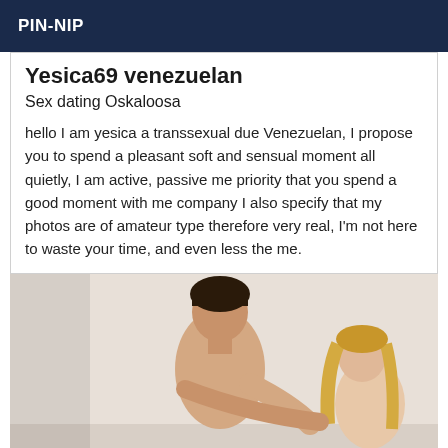PIN-NIP
Yesica69 venezuelan
Sex dating Oskaloosa
hello I am yesica a transsexual due Venezuelan, I propose you to spend a pleasant soft and sensual moment all quietly, I am active, passive me priority that you spend a good moment with me company I also specify that my photos are of amateur type therefore very real, I'm not here to waste your time, and even less the me.
[Figure (photo): Photo of two people, a shirtless man with dark hair and a woman with long blonde hair, in an intimate pose against a light background.]